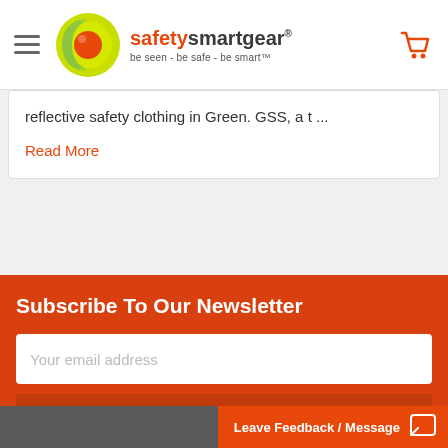[Figure (logo): safetysmartgear logo with concentric circle icon in green and orange, tagline: be seen - be safe - be smart]
reflective safety clothing in Green. GSS, a t ...
Read More
Subscribe To Our Newsletter
Your email address
SUBSCRIBE
Leave Feedback / Message